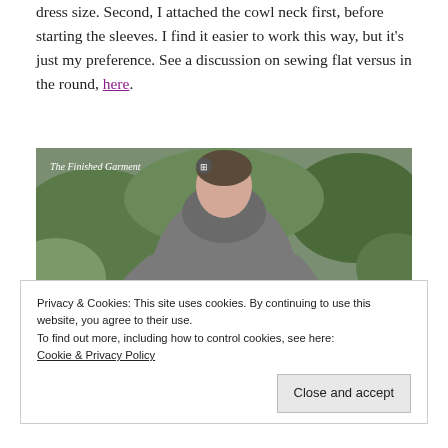dress size. Second, I attached the cowl neck first, before starting the sleeves. I find it easier to work this way, but it's just my preference. See a discussion on sewing flat versus in the round, here.
[Figure (photo): Photo of a person wearing a grey cowl-neck wrap sweater with a tie at the waist, standing outdoors in front of green foliage. A watermark label reads 'The Finished Garment' with a grid icon.]
Privacy & Cookies: This site uses cookies. By continuing to use this website, you agree to their use.
To find out more, including how to control cookies, see here:
Cookie & Privacy Policy
Close and accept